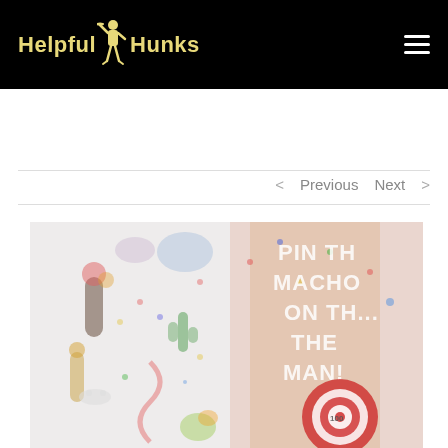Helpful Hunks
< Previous   Next >
[Figure (photo): A faded/washed-out composite image showing bachelorette party items on the left (novelty props, colorful items) and a shirtless muscular man on the right with text overlay reading 'PIN THE MACHO ON THE MAN!' and a target/bullseye graphic with '100' in the center.]